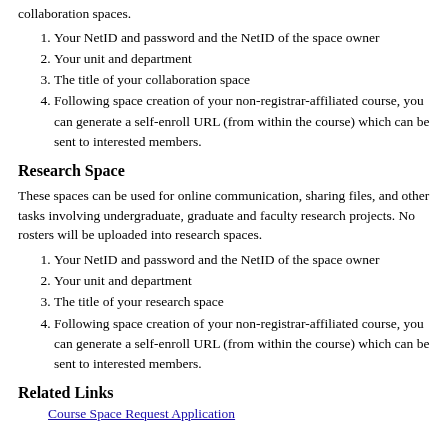collaboration spaces.
1. Your NetID and password and the NetID of the space owner
2. Your unit and department
3. The title of your collaboration space
4. Following space creation of your non-registrar-affiliated course, you can generate a self-enroll URL (from within the course) which can be sent to interested members.
Research Space
These spaces can be used for online communication, sharing files, and other tasks involving undergraduate, graduate and faculty research projects. No rosters will be uploaded into research spaces.
1. Your NetID and password and the NetID of the space owner
2. Your unit and department
3. The title of your research space
4. Following space creation of your non-registrar-affiliated course, you can generate a self-enroll URL (from within the course) which can be sent to interested members.
Related Links
Course Space Request Application